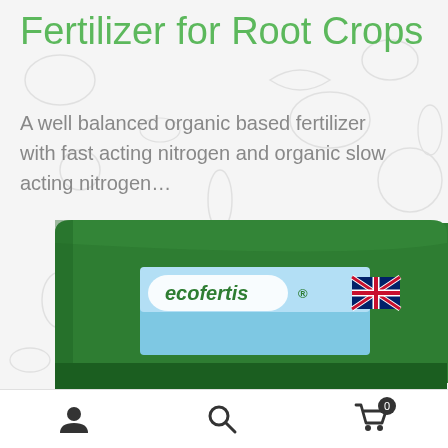Fertilizer for Root Crops
A well balanced organic based fertilizer with fast acting nitrogen and organic slow acting nitrogen…
[Figure (photo): Product bag of Ecofertis fertilizer, green packaging with blue label showing ecofertis brand name and UK flag]
Navigation bar with user account icon, search icon, and shopping cart icon with badge showing 0